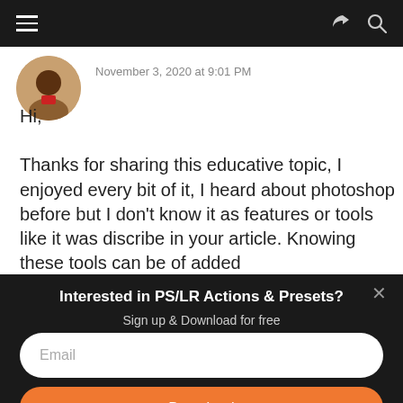Navigation bar with hamburger menu, share icon, and search icon
November 3, 2020 at 9:01 PM
Hi,

Thanks for sharing this educative topic, I enjoyed every bit of it, I heard about photoshop before but I don't know it as features or tools like it was discribe in your article. Knowing these tools can be of added
Interested in PS/LR Actions & Presets?
Sign up & Download for free
Email
Download